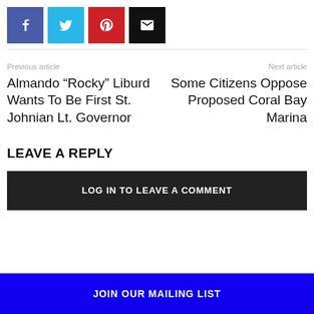[Figure (other): Row of four social share buttons: Facebook (blue), Twitter (cyan), Pinterest (red), Email (black)]
Previous article
Almando “Rocky” Liburd Wants To Be First St. Johnian Lt. Governor
Next article
Some Citizens Oppose Proposed Coral Bay Marina
LEAVE A REPLY
LOG IN TO LEAVE A COMMENT
JOIN OUR MAILING LIST